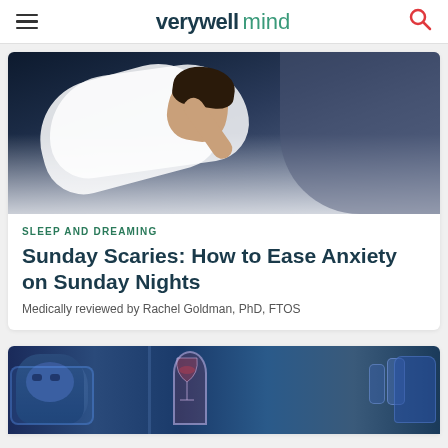verywell mind
[Figure (photo): Woman lying in bed at night, awake, with hands on head, looking stressed, dark bedroom]
SLEEP AND DREAMING
Sunday Scaries: How to Ease Anxiety on Sunday Nights
Medically reviewed by Rachel Goldman, PhD, FTOS
[Figure (illustration): Animated illustration showing a person awake in bed, a wine glass, and sleep-related imagery in blue tones]